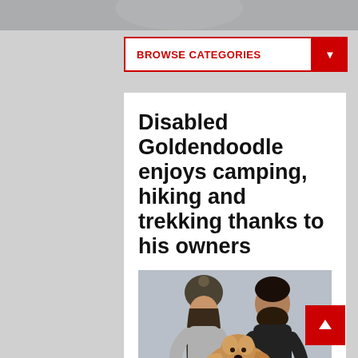BROWSE CATEGORIES ▼
Disabled Goldendoodle enjoys camping, hiking and trekking thanks to his owners
[Figure (photo): A smiling couple holding a fluffy golden doodle dog outdoors in overcast conditions. The woman on the left wears a dark olive knit beanie hat and a grey top; the man on the right has a beard and wears a black t-shirt.]